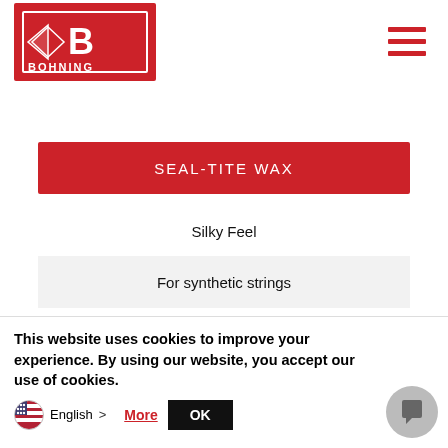[Figure (logo): Bohning logo — white arrow/diamond icon and 'B' letter with 'BOHNING' text on a red background rectangle]
SEAL-TITE WAX
Silky Feel
For synthetic strings
Silicone-based
Remains soft even in cold weather
This website uses cookies to improve your experience. By using our website, you accept our use of cookies.
English  >  More  OK